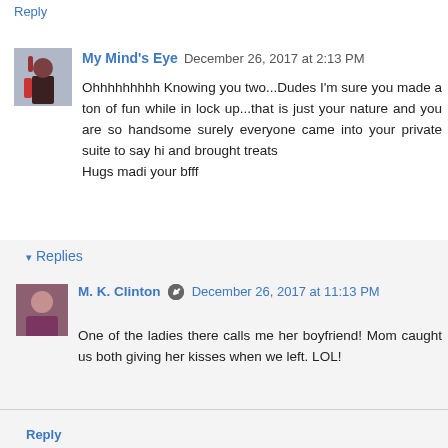Reply
My Mind's Eye   December 26, 2017 at 2:13 PM
Ohhhhhhhhh Knowing you two...Dudes I'm sure you made a ton of fun while in lock up...that is just your nature and you are so handsome surely everyone came into your private suite to say hi and brought treats
Hugs madi your bfff
Reply
▾ Replies
M. K. Clinton  ✎  December 26, 2017 at 11:13 PM
One of the ladies there calls me her boyfriend! Mom caught us both giving her kisses when we left. LOL!
Reply